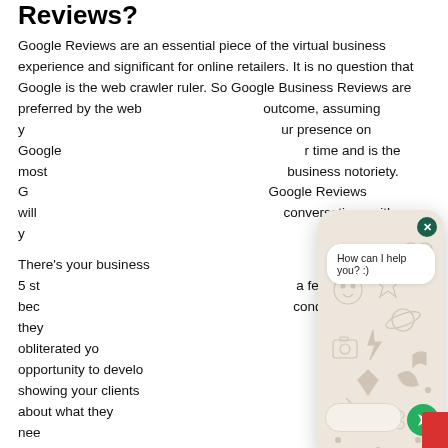Reviews?
Google Reviews are an essential piece of the virtual business experience and significant for online retailers. It is no question that Google is the web crawler ruler. So Google Business Reviews are preferred by the web... outcome, assuming y... presence on Google... time and is the most... business notoriety. C... Google Reviews will... conversations with y...
There's your business... rating of 2 out of 5 st... a few irate clients, bec... conditions, and they... except obliterated yo... opportunity to develo... showing your clients... about what they nee... e it right. However, the... individuals look for your business, they're prone to scroll directly past you.
[Figure (screenshot): A chat widget popup overlay showing 'How can I help you? :)' message bubble on a decorative emoji/doodle patterned background, with a close button (X) in dark green circle at top right, a text input bar and green send button at the bottom.]